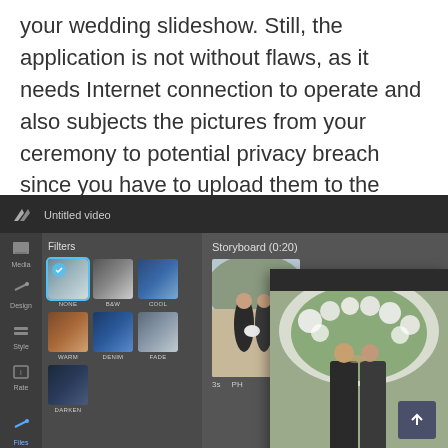your wedding slideshow. Still, the application is not without flaws, as it needs Internet connection to operate and also subjects the pictures from your ceremony to potential privacy breach since you have to upload them to the website.
[Figure (screenshot): Screenshot of a video slideshow editor application showing a dark-themed UI with a sidebar containing Media, Design, Style, Rate, and Files tools; a Filters panel showing filter options (NONE selected, B&W, COOL, WARM, DENIM, FADE, DARKEN); a Storyboard (0:20) section with a wedding couple photo; and an overlay popup showing a wedding arch/couple kissing photo with an upload button.]